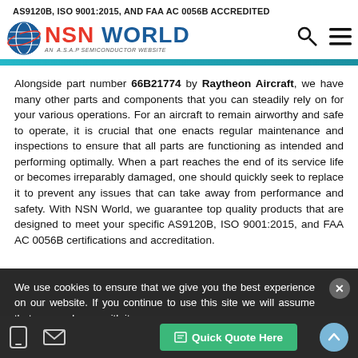AS9120B, ISO 9001:2015, AND FAA AC 0056B ACCREDITED
[Figure (logo): NSN World logo with globe icon and 'AN A.S.A.P SEMICONDUCTOR WEBSITE' subtitle, with search and menu icons on the right]
Alongside part number 66B21774 by Raytheon Aircraft, we have many other parts and components that you can steadily rely on for your various operations. For an aircraft to remain airworthy and safe to operate, it is crucial that one enacts regular maintenance and inspections to ensure that all parts are functioning as intended and performing optimally. When a part reaches the end of its service life or becomes irreparably damaged, one should quickly seek to replace it to prevent any issues that can take away from performance and safety. With NSN World, we guarantee top quality products that are designed to meet your specific AS9120B, ISO 9001:2015, and FAA AC 0056B certifications and accreditation.
We use cookies to ensure that we give you the best experience on our website. If you continue to use this site we will assume that you are happy with it.
Yes, I Accept Cookies.
Quick Quote Here